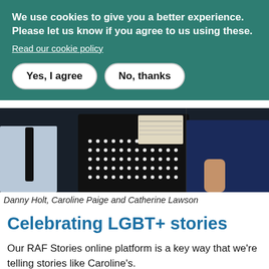We use cookies to give you a better experience. Please let us know if you agree to us using these.
Read our cookie policy
Yes, I agree
No, thanks
[Figure (photo): Photo of Danny Holt, Caroline Paige and Catherine Lawson standing together at an event with a display board showing LED lights and a newspaper in the background.]
Danny Holt, Caroline Paige and Catherine Lawson
Celebrating LGBT+ stories
Our RAF Stories online platform is a key way that we're telling stories like Caroline's.